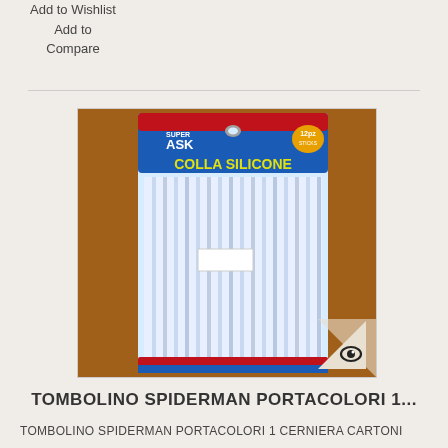Add to Wishlist
Add to Compare
[Figure (photo): Product photo of Super ASK Colla Silicone 12pz glue sticks in blue blister packaging, displayed on a wooden surface. An eye-icon badge is overlaid on the bottom right corner of the image box.]
TOMBOLINO SPIDERMAN PORTACOLORI 1...
TOMBOLINO SPIDERMAN PORTACOLORI 1 CERNIERA CARTONI